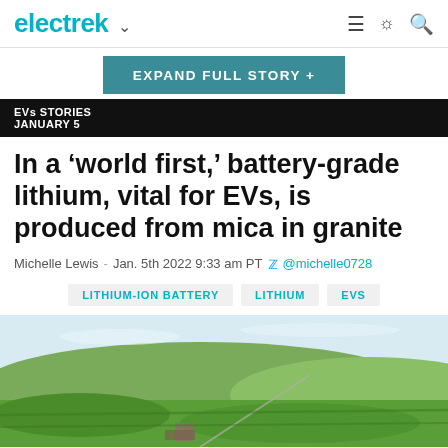electrek
EXPAND FULL STORY +
EVs STORIES
JANUARY 5
In a ‘world first,’ battery-grade lithium, vital for EVs, is produced from mica in granite
Michelle Lewis - Jan. 5th 2022 9:33 am PT @michelle0728
LITHIUM-ION BATTERY   LITHIUM   EVS
[Figure (photo): Aerial view of green rolling countryside hills with a road and old building visible, under a light blue sky with thin clouds.]